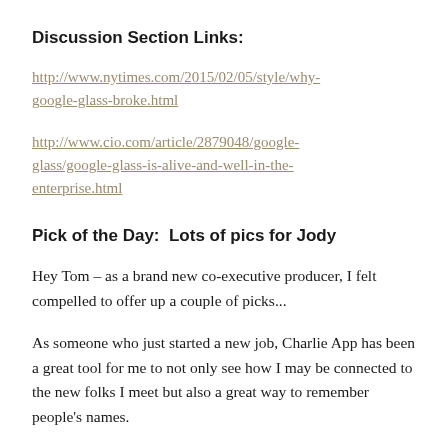Discussion Section Links:
http://www.nytimes.com/2015/02/05/style/why-google-glass-broke.html
http://www.cio.com/article/2879048/google-glass/google-glass-is-alive-and-well-in-the-enterprise.html
Pick of the Day:  Lots of pics for Jody
Hey Tom – as a brand new co-executive producer, I felt compelled to offer up a couple of picks...
As someone who just started a new job, Charlie App has been a great tool for me to not only see how I may be connected to the new folks I meet but also a great way to remember people's names.